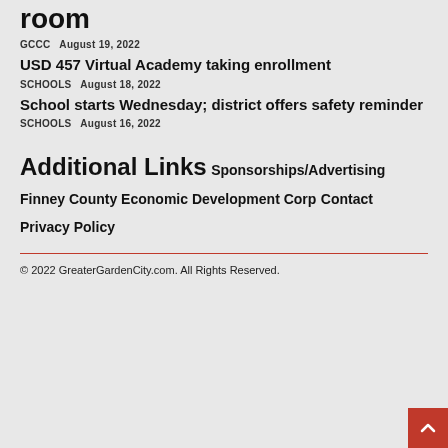room
GCCC  August 19, 2022
USD 457 Virtual Academy taking enrollment
SCHOOLS  August 18, 2022
School starts Wednesday; district offers safety reminder
SCHOOLS  August 16, 2022
Additional Links
Sponsorships/Advertising
Finney County Economic Development Corp
Contact
Privacy Policy
© 2022 GreaterGardenCity.com. All Rights Reserved.